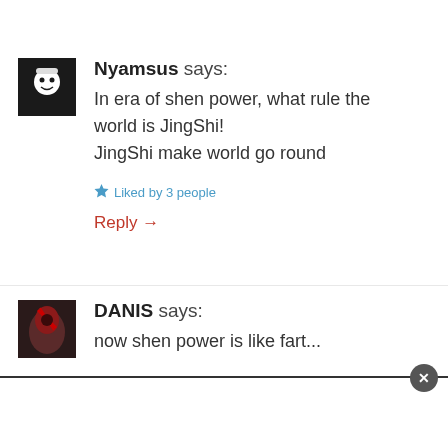Nyamsus says:
In era of shen power, what rule the world is JingShi!
JingShi make world go round
Liked by 3 people
Reply →
DANIS says:
now shen power is like fart...